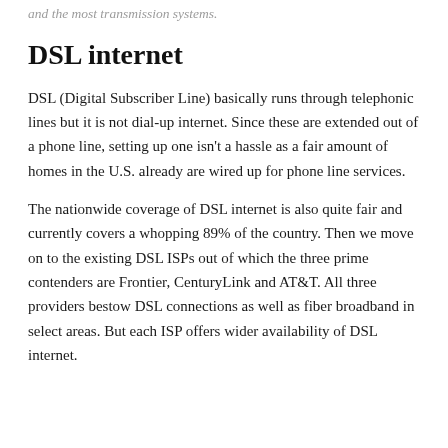and the most transmission systems.
DSL internet
DSL (Digital Subscriber Line) basically runs through telephonic lines but it is not dial-up internet. Since these are extended out of a phone line, setting up one isn't a hassle as a fair amount of homes in the U.S. already are wired up for phone line services.
The nationwide coverage of DSL internet is also quite fair and currently covers a whopping 89% of the country. Then we move on to the existing DSL ISPs out of which the three prime contenders are Frontier, CenturyLink and AT&T. All three providers bestow DSL connections as well as fiber broadband in select areas. But each ISP offers wider availability of DSL internet.